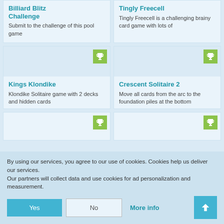Billiard Blitz Challenge
Submit to the challenge of this pool game
Tingly Freecell
Tingly Freecell is a challenging brainy card game with lots of
[Figure (illustration): Game thumbnail area with green trophy badge for Kings Klondike]
Kings Klondike
Klondike Solitaire game with 2 decks and hidden cards
[Figure (illustration): Game thumbnail area with green trophy badge for Crescent Solitaire 2]
Crescent Solitaire 2
Move all cards from the arc to the foundation piles at the bottom
[Figure (illustration): Game thumbnail area with green trophy badge (partial, bottom row left)]
[Figure (illustration): Game thumbnail area with green trophy badge (partial, bottom row right)]
By using our services, you agree to our use of cookies. Cookies help us deliver our services.
Our partners will collect data and use cookies for ad personalization and measurement.